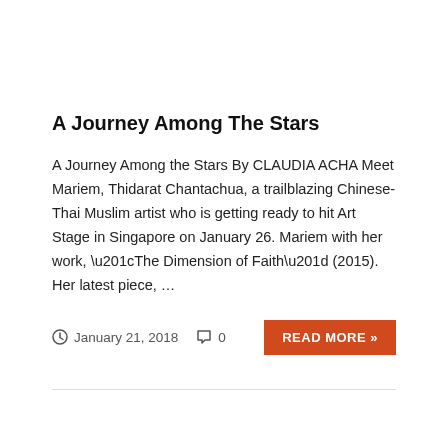A Journey Among The Stars
A Journey Among the Stars By CLAUDIA ACHA Meet Mariem, Thidarat Chantachua, a trailblazing Chinese-Thai Muslim artist who is getting ready to hit Art Stage in Singapore on January 26. Mariem with her work, “The Dimension of Faith” (2015). Her latest piece, …
January 21, 2018   0   READ MORE »